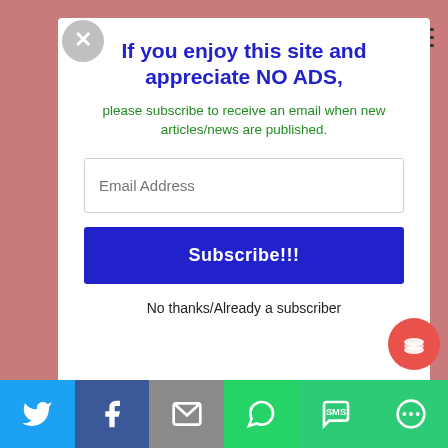If you enjoy this site and appreciate NO ADS,
please subscribe to receive an email when new articles/news are published.
Email Address
Subscribe!!!
No thanks/Already a subscriber
[Figure (screenshot): Social share bar at the bottom with Twitter, Facebook, Email, WhatsApp, SMS, and More buttons]